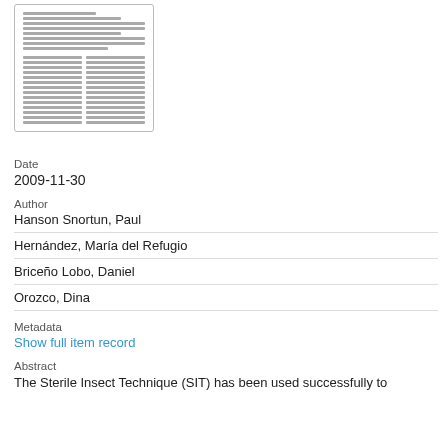[Figure (other): Thumbnail preview of a document page showing dense text in two-column layout]
Date
2009-11-30
Author
| Hanson Snortun, Paul |
| Hernández, María del Refugio |
| Briceño Lobo, Daniel |
| Orozco, Dina |
Metadata
Show full item record
Abstract
The Sterile Insect Technique (SIT) has been used successfully to